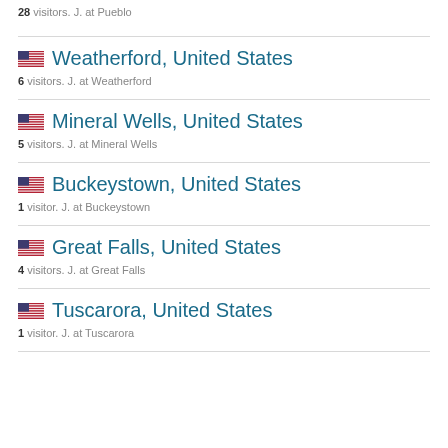28 visitors. J. at Pueblo
Weatherford, United States
6 visitors. J. at Weatherford
Mineral Wells, United States
5 visitors. J. at Mineral Wells
Buckeystown, United States
1 visitor. J. at Buckeystown
Great Falls, United States
4 visitors. J. at Great Falls
Tuscarora, United States
1 visitor. J. at Tuscarora